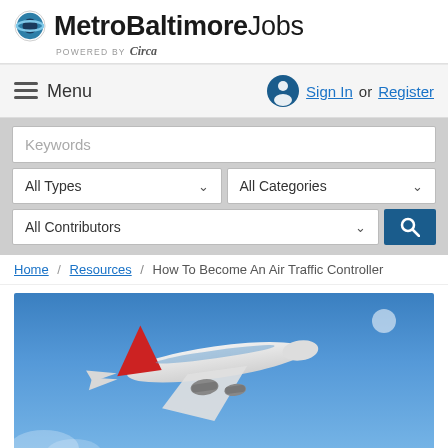MetroBaltimoreJobs powered by Circa
Menu | Sign In or Register
Keywords | All Types | All Categories | All Contributors
Home / Resources / How To Become An Air Traffic Controller
[Figure (photo): Commercial airplane flying against a bright blue sky, seen from below-rear angle, red tail fin visible]